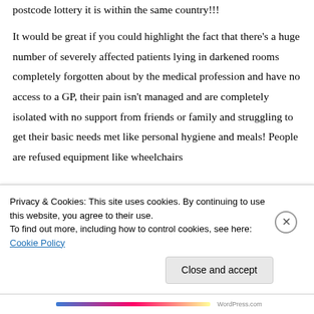postcode lottery it is within the same country!!! It would be great if you could highlight the fact that there's a huge number of severely affected patients lying in darkened rooms completely forgotten about by the medical profession and have no access to a GP, their pain isn't managed and are completely isolated with no support from friends or family and struggling to get their basic needs met like personal hygiene and meals! People are refused equipment like wheelchairs and the text continues below...
Privacy & Cookies: This site uses cookies. By continuing to use this website, you agree to their use. To find out more, including how to control cookies, see here: Cookie Policy